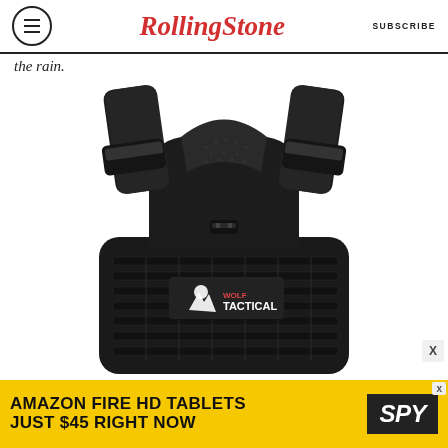Rolling Stone | SUBSCRIBE
the rain.
[Figure (photo): Black Wolf Tactical weighted vest/plate carrier with MOLLE webbing and shoulder straps, photographed on white background]
[Figure (other): Advertisement: AMAZON FIRE HD TABLETS JUST $45 RIGHT NOW - SPY]